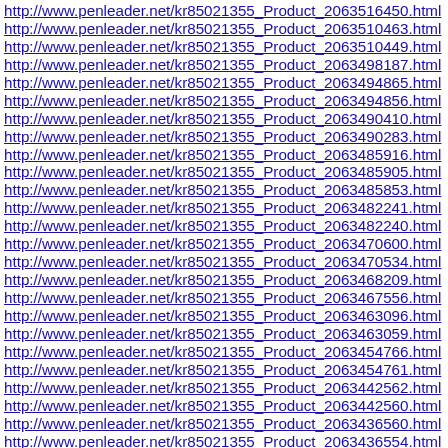http://www.penleader.net/kr85021355_Product_2063516450.html
http://www.penleader.net/kr85021355_Product_2063510463.html
http://www.penleader.net/kr85021355_Product_2063510449.html
http://www.penleader.net/kr85021355_Product_2063498187.html
http://www.penleader.net/kr85021355_Product_2063494865.html
http://www.penleader.net/kr85021355_Product_2063494856.html
http://www.penleader.net/kr85021355_Product_2063490410.html
http://www.penleader.net/kr85021355_Product_2063490283.html
http://www.penleader.net/kr85021355_Product_2063485916.html
http://www.penleader.net/kr85021355_Product_2063485905.html
http://www.penleader.net/kr85021355_Product_2063485853.html
http://www.penleader.net/kr85021355_Product_2063482241.html
http://www.penleader.net/kr85021355_Product_2063482240.html
http://www.penleader.net/kr85021355_Product_2063470600.html
http://www.penleader.net/kr85021355_Product_2063470534.html
http://www.penleader.net/kr85021355_Product_2063468209.html
http://www.penleader.net/kr85021355_Product_2063467556.html
http://www.penleader.net/kr85021355_Product_2063463096.html
http://www.penleader.net/kr85021355_Product_2063463059.html
http://www.penleader.net/kr85021355_Product_2063454766.html
http://www.penleader.net/kr85021355_Product_2063454761.html
http://www.penleader.net/kr85021355_Product_2063442562.html
http://www.penleader.net/kr85021355_Product_2063442560.html
http://www.penleader.net/kr85021355_Product_2063436560.html
http://www.penleader.net/kr85021355_Product_2063436554.html